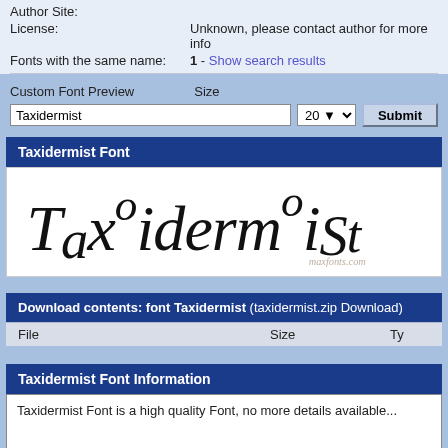Author Site:
License: Unknown, please contact author for more info
Fonts with the same name: 1 - Show search results
Custom Font Preview   Size
Taxidermist [input field]   20 [dropdown]   Submit
Taxidermist Font
[Figure (illustration): Decorative font preview rendering the word 'Taxidermist' in a stylized handwritten/quirky font. Watermark reads 'maxfonts.com' in bottom right.]
Download contents: font Taxidermist (taxidermist.zip Download)
| File | Size | Ty |
| --- | --- | --- |
Taxidermist Font Information
Taxidermist Font is a high quality Font, no more details available...